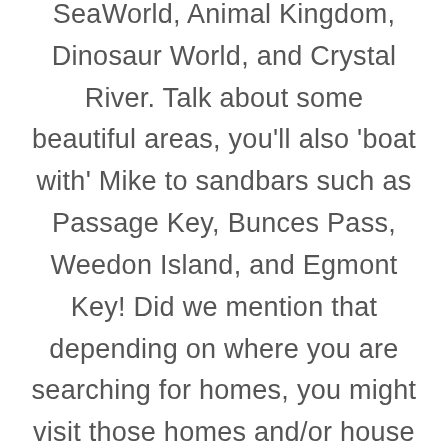You'll ride along on day trips to great nearby destinations such as Magic Kingdom, Epcot, SeaWorld, Animal Kingdom, Dinosaur World, and Crystal River. Talk about some beautiful areas, you'll also 'boat with' Mike to sandbars such as Passage Key, Bunces Pass, Weedon Island, and Egmont Key! Did we mention that depending on where you are searching for homes, you might visit those homes and/or house search via boat? Contact Mike today to find the perfect St. Pete property for you!